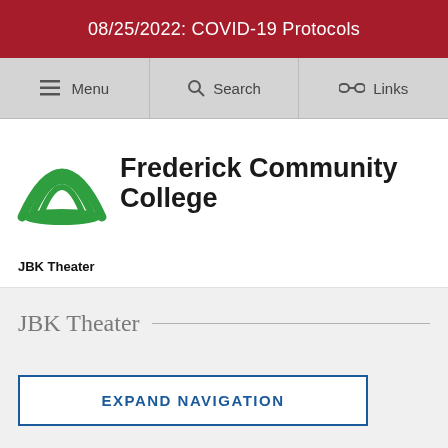08/25/2022: COVID-19 Protocols
[Figure (screenshot): Navigation bar with Menu, Search, and Links icons]
[Figure (logo): Frederick Community College logo with green arc/rainbow graphic and text]
JBK Theater
JBK Theater
EXPAND NAVIGATION